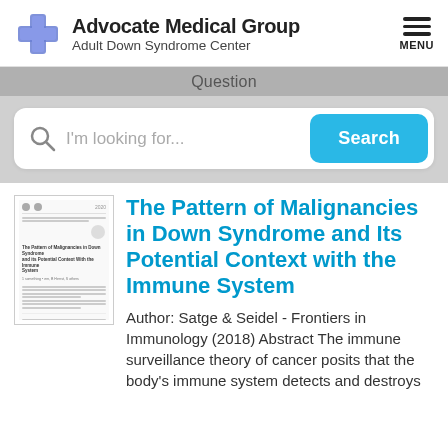[Figure (logo): Advocate Medical Group Adult Down Syndrome Center logo with blue cross and text]
Question
I'm looking for...
Search
[Figure (thumbnail): Thumbnail of academic paper: The Pattern of Malignancies in Down Syndrome and its Potential Context With the Immune System]
The Pattern of Malignancies in Down Syndrome and Its Potential Context with the Immune System
Author: Satge & Seidel - Frontiers in Immunology (2018) Abstract The immune surveillance theory of cancer posits that the body's immune system detects and destroys